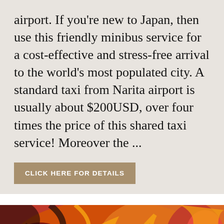airport. If you're new to Japan, then use this friendly minibus service for a cost-effective and stress-free arrival to the world's most populated city. A standard taxi from Narita airport is usually about $200USD, over four times the price of this shared taxi service! Moreover the ...
CLICK HERE FOR DETAILS
[Figure (photo): Colorful Japanese festival decoration or artwork featuring orange, red, green and black stylized figures, possibly Nebuta festival floats or similar traditional Japanese decorative art.]